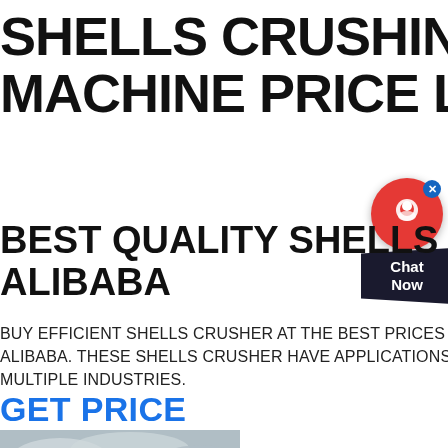SHELLS CRUSHING MACHINE PRICE LIST
BEST QUALITY SHELLS CRUSHER ALIBABA
BUY EFFICIENT SHELLS CRUSHER AT THE BEST PRICES ON ALIBABA. THESE SHELLS CRUSHER HAVE APPLICATIONS IN MULTIPLE INDUSTRIES.
GET PRICE
[Figure (photo): Outdoor scene with cloudy sky, flag poles or mast structures visible, and trees in background]